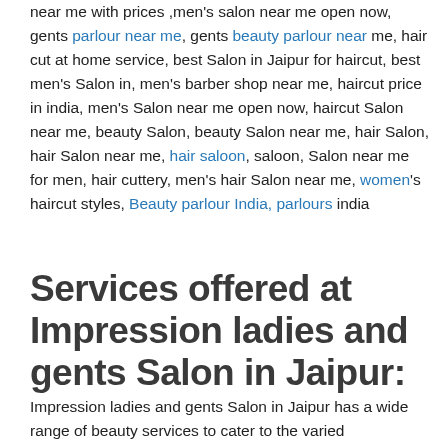near me with prices, men's salon near me open now, gents parlour near me, gents beauty parlour near me, hair cut at home service, best Salon in Jaipur for haircut, best men's Salon in, men's barber shop near me, haircut price in india, men's Salon near me open now, haircut Salon near me, beauty Salon, beauty Salon near me, hair Salon, hair Salon near me, hair saloon, saloon, Salon near me for men, hair cuttery, men's hair Salon near me, women's haircut styles, Beauty parlour India, parlours india
Services offered at Impression ladies and gents Salon in Jaipur:
Impression ladies and gents Salon in Jaipur has a wide range of beauty services to cater to the varied requirements of their customers. The staff at this establishment are